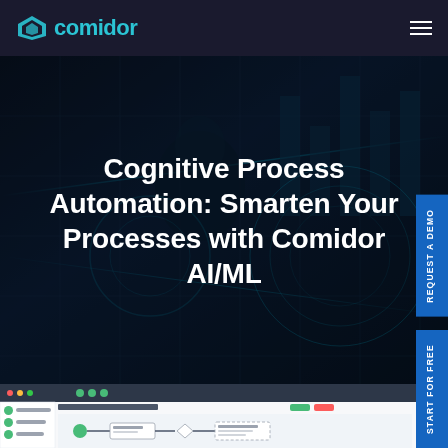[Figure (logo): Comidor logo with teal geometric icon and 'comidor' text in teal]
Cognitive Process Automation: Smarten Your Processes with Comidor AI/ML
[Figure (screenshot): Comidor platform UI screenshot showing Loan Approval Process workflow with BPMN diagram, sidebar navigation, and a chat widget overlay]
REQUEST A DEMO
START FOR FREE